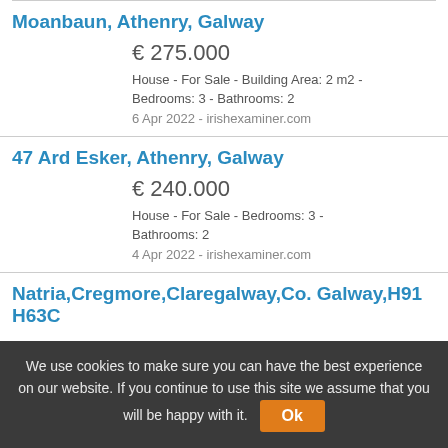Moanbaun, Athenry, Galway
€ 275.000
House - For Sale - Building Area: 2 m2 - Bedrooms: 3 - Bathrooms: 2
6 Apr 2022 - irishexaminer.com
47 Ard Esker, Athenry, Galway
€ 240.000
House - For Sale - Bedrooms: 3 - Bathrooms: 2
4 Apr 2022 - irishexaminer.com
Natria,Cregmore,Claregalway,Co. Galway,H91 H63C
We use cookies to make sure you can have the best experience on our website. If you continue to use this site we assume that you will be happy with it.  Ok